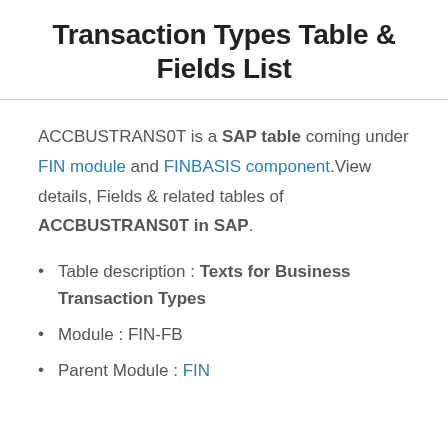Transaction Types Table & Fields List
ACCBUSTRANS0T is a SAP table coming under FIN module and FINBASIS component.View details, Fields & related tables of ACCBUSTRANS0T in SAP.
Table description : Texts for Business Transaction Types
Module : FIN-FB
Parent Module : FIN